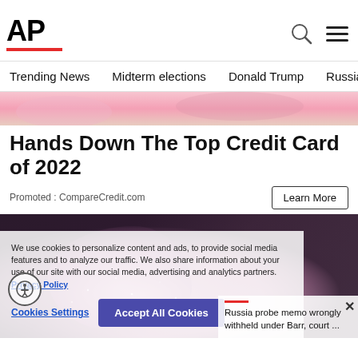[Figure (logo): AP (Associated Press) logo with red underline bar]
Trending News    Midterm elections    Donald Trump    Russia-Ukr
[Figure (photo): Top portion of ad image with pink/peach gradient background]
Hands Down The Top Credit Card of 2022
Promoted : CompareCredit.com
Learn More
[Figure (photo): Hand holding glittery pink sparkly object against dark background]
We use cookies to personalize content and ads, to provide social media features and to analyze our traffic. We also share information about your use of our site with our social media, advertising and analytics partners.  Privacy Policy
Cookies Settings    Accept All Cookies
Russia probe memo wrongly withheld under Barr, court ...